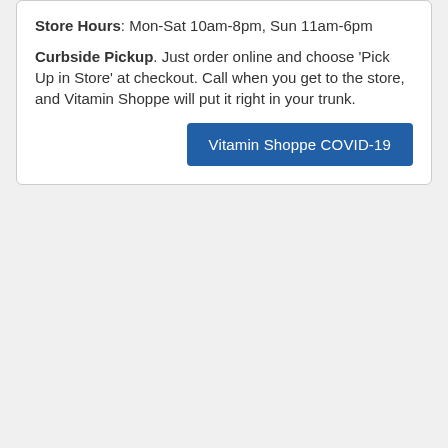Store Hours: Mon-Sat 10am-8pm, Sun 11am-6pm
Curbside Pickup. Just order online and choose 'Pick Up in Store' at checkout. Call when you get to the store, and Vitamin Shoppe will put it right in your trunk.
Vitamin Shoppe COVID-19